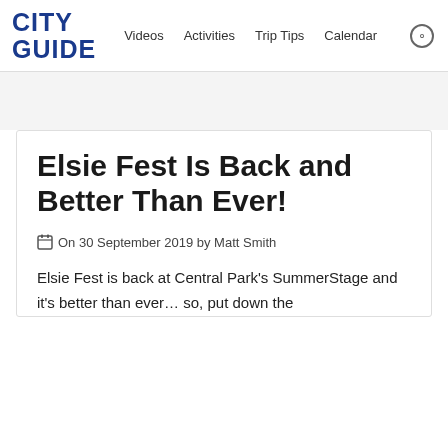CITY GUIDE  Videos  Activities  Trip Tips  Calendar
Elsie Fest Is Back and Better Than Ever!
On 30 September 2019 by Matt Smith
Elsie Fest is back at Central Park's SummerStage and it's better than ever… so, put down the